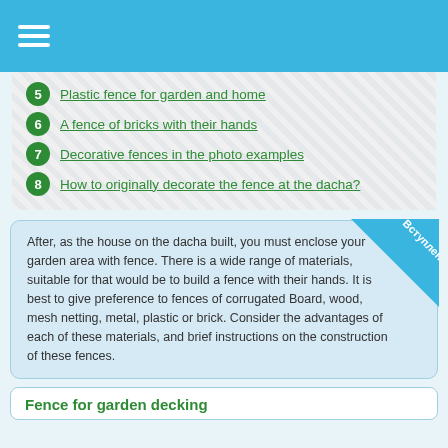5 Plastic fence for garden and home
6 A fence of bricks with their hands
7 Decorative fences in the photo examples
8 How to originally decorate the fence at the dacha?
After, as the house on the dacha built, you must enclose your garden area with fence. There is a wide range of materials, suitable for that would be to build a fence with their hands. It is best to give preference to fences of corrugated Board, wood, mesh netting, metal, plastic or brick. Consider the advantages of each of these materials, and brief instructions on the construction of these fences.
Fence for garden decking